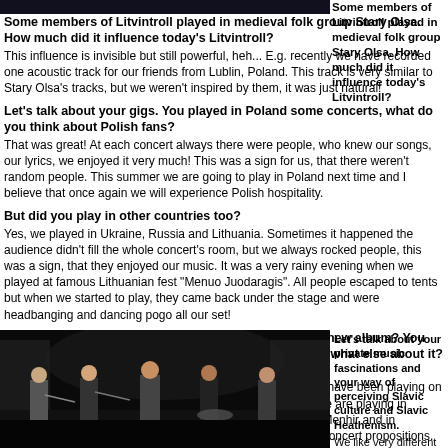[Figure (photo): Band members on stage, partial view at top of page]
Some members of Litvintroll played in medieval folk group Stary Olsa. How much did it influence today's Litvintroll?
This influence is invisible but still powerful, heh... E.g. recently we have recorded one acoustic track for our friends from Lublin, Poland. This track is very similar to Stary Olsa's tracks, but we weren't inspired by them, it was just natural!
Let's talk about your gigs. You played in Poland some concerts, what do you think about Polish fans?
That was great! At each concert always there were people, who knew our songs, our lyrics, we enjoyed it very much! This was a sign for us, that there weren't random people. This summer we are going to play in Poland next time and I believe that once again we will experience Polish hospitality.
But did you play in other countries too?
Yes, we played in Ukraine, Russia and Lithuania. Sometimes it happened the audience didn't fill the whole concert's room, but we always rocked people, this was a sign, that they enjoyed our music. It was a very rainy evening when we played at famous Lithuanian fest "Menuo Juodaragis". All people escaped to tents but when we started to play, they came back under the stage and were headbanging and dancing pogo all our set!
Do you work with new material, when can we get your new album? You have just said about your plans to play gigs in Poland, what else about it? What are your concert plans for the nearest future?
So far we have made half of our new material, a part of it we have been playing on our gigs now. CD will be available in autumn 2011, I think. We are playing in Germany on 4 June at „Black Troll Fest” with Skyforger and Menhir and in Eastland on 13 August with Metsatoll. We are open to other concert propositions. We will inform about all of our gigs on our website.
[Figure (photo): Band members performing on stage in dark venue]
Let's talk about your private music fascinations and your way of perceiving Slavic culture and Slavic Heathenism.
We like very different music, not only folk and folkmetal, but we also like the greatest bands like Skyforger, In